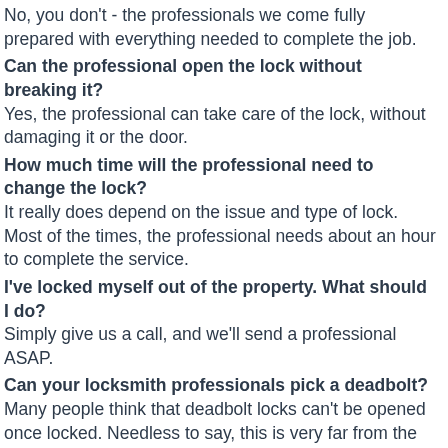No, you don't - the professionals we come fully prepared with everything needed to complete the job.
Can the professional open the lock without breaking it?
Yes, the professional can take care of the lock, without damaging it or the door.
How much time will the professional need to change the lock?
It really does depend on the issue and type of lock. Most of the times, the professional needs about an hour to complete the service.
I've locked myself out of the property. What should I do?
Simply give us a call, and we'll send a professional ASAP.
Can your locksmith professionals pick a deadbolt?
Many people think that deadbolt locks can't be opened once locked. Needless to say, this is very far from the truth. The locksmith technicians who we work with have both the right tools and skills to have any type of door opened in zero time.
Do I have to be there for the locksmith service?
Yes. You need to provide access to the property and